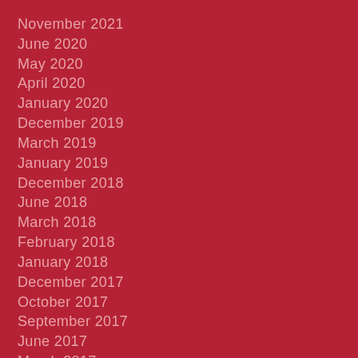November 2021
June 2020
May 2020
April 2020
January 2020
December 2019
March 2019
January 2019
December 2018
June 2018
March 2018
February 2018
January 2018
December 2017
October 2017
September 2017
June 2017
March 2017
February 2017
January 2017